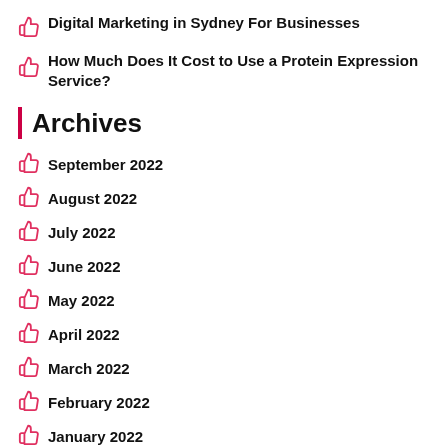Digital Marketing in Sydney For Businesses
How Much Does It Cost to Use a Protein Expression Service?
Archives
September 2022
August 2022
July 2022
June 2022
May 2022
April 2022
March 2022
February 2022
January 2022
December 2021